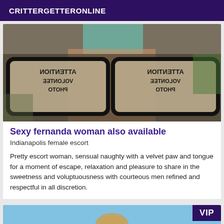CRITTERGETTERONLINE
[Figure (photo): Photo with mirrored warning signs reading ATTENTION PHOTO VOLUNTEER overlaid on an image, reversed text visible]
Sexy fernanda woman also available
Indianapolis female escort
Pretty escort woman, sensual naughty with a velvet paw and tongue for a moment of escape, relaxation and pleasure to share in the sweetness and voluptuousness with courteous men refined and respectful in all discretion.
[Figure (photo): Photo of a woman with a VIP badge overlay in the top right corner]